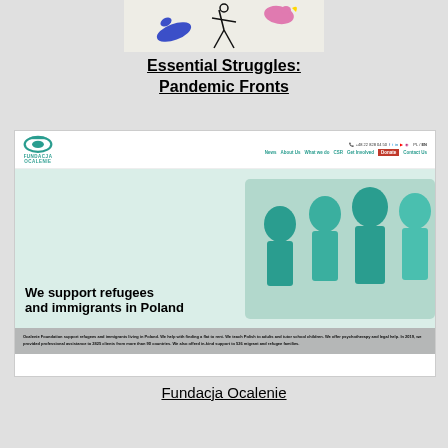[Figure (illustration): Small illustration of sketched figures/birds in blue, black, and pink on light background]
Essential Struggles: Pandemic Fronts
[Figure (screenshot): Screenshot of Fundacja Ocalenie website. Header shows logo, phone number +48 22 828 04 50, social media icons, language toggle PL/EN, and navigation: News, About Us, What we do, CSR, Get Involved, Donate, Contact Us. Hero section shows text 'We support refugees and immigrants in Poland' over photo of children in teal/green tones. Grey banner at bottom reads: 'Ocalenie Foundation support refugees and immigrants living in Poland. We help with finding a flat to rent. We teach Polish to adults and tutor school children. We offer psychotherapy and legal help. In 2019, we provided professional assistance to 2825 clients from more than 90 countries. We also offerd in-kind support to 526 migrant and refugee families.']
Fundacja Ocalenie